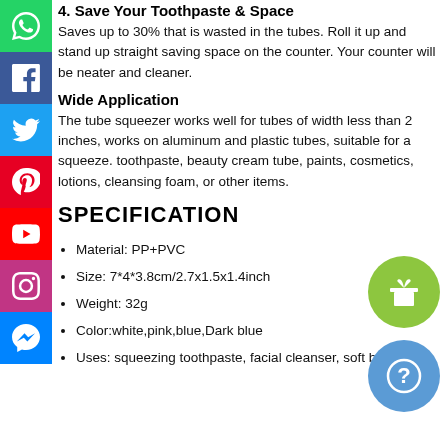4. Save Your Toothpaste & Space
Saves up to 30% that is wasted in the tubes. Roll it up and stand up straight saving space on the counter. Your counter will be neater and cleaner.
Wide Application
The tube squeezer works well for tubes of width less than 2 inches, works on aluminum and plastic tubes, suitable for a squeeze. toothpaste, beauty cream tube, paints, cosmetics, lotions, cleansing foam, or other items.
SPECIFICATION
Material: PP+PVC
Size: 7*4*3.8cm/2.7x1.5x1.4inch
Weight: 32g
Color:white,pink,blue,Dark blue
Uses: squeezing toothpaste, facial cleanser, soft bottled